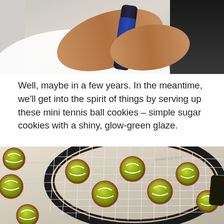[Figure (photo): Person in white tennis dress holding a tennis racket handle/grip, close-up shot showing hands and forearms]
Well, maybe in a few years. In the meantime, we'll get into the spirit of things by serving up these mini tennis ball cookies – simple sugar cookies with a shiny, glow-green glaze.
[Figure (photo): Tennis ball shaped sugar cookies with shiny glow-green glaze arranged on and around a tennis racket]